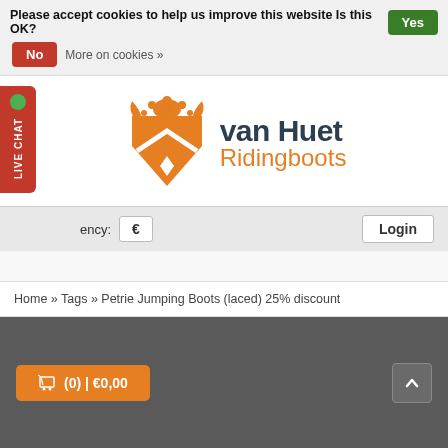Please accept cookies to help us improve this website Is this OK? Yes
No   More on cookies »
[Figure (logo): van Huet Ridingboots logo with orange heraldic crest and bold text]
LIVE CHAT
ency:  €   Login
Home » Tags » Petrie Jumping Boots (laced) 25% discount
(0) | €0,00